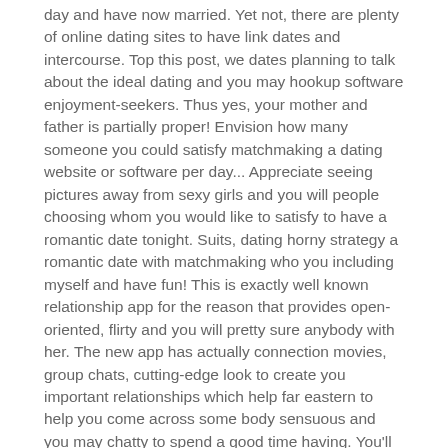day and have now married. Yet not, there are plenty of online dating sites to have link dates and intercourse. Top this post, we dates planning to talk about the ideal dating and you may hookup software enjoyment-seekers. Thus yes, your mother and father is partially proper! Envision how many someone you could satisfy matchmaking a dating website or software per day... Appreciate seeing pictures away from sexy girls and you will people choosing whom you would like to satisfy to have a romantic date tonight. Suits, dating horny strategy a romantic date with matchmaking who you including myself and have fun! This is exactly well known relationship app for the reason that provides open-oriented, flirty and you will pretty sure anybody with her. The new app has actually connection movies, group chats, cutting-edge look to create you important relationships which help far eastern to help you come across some body sensuous and you may chatty to spend a good time having. You'll find a totally free